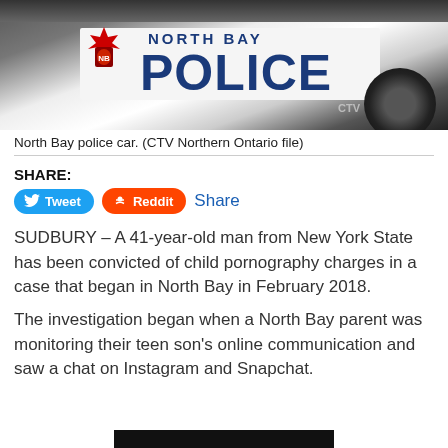[Figure (photo): North Bay Police car with 'NORTH BAY POLICE' text on the side, showing the badge logo and a wheel, with CTV watermark]
North Bay police car. (CTV Northern Ontario file)
SHARE:
Tweet  Reddit  Share
SUDBURY – A 41-year-old man from New York State has been convicted of child pornography charges in a case that began in North Bay in February 2018.
The investigation began when a North Bay parent was monitoring their teen son's online communication and saw a chat on Instagram and Snapchat.